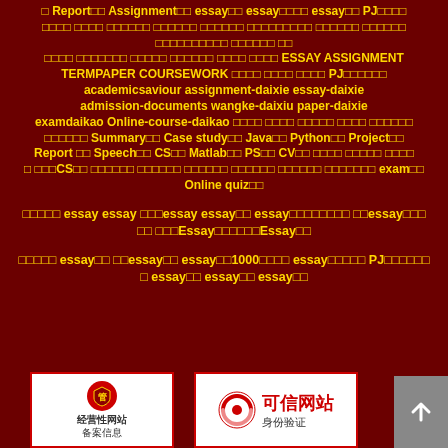□ Report□□ Assignment□□ essay□□ essay□□□□ essay□□ PJ□□□□ □□□□ □□□□ □□□□□□ □□□□□□ □□□□□□ □□□□□□□□□ □□□□□□ □□□□□□ □□□□□□□□□□ □□□□□□ □□ □□□□ □□□□□□□ □□□□□ □□□□□□ □□□□ □□□□ ESSAY ASSIGNMENT TERMPAPER COURSEWORK □□□□ □□□□ □□□□ PJ□□□□□□ academicsaviour assignment-daixie essay-daixie admission-documents wangke-daixiu paper-daixie examdaikao Online-course-daikao □□□□ □□□□ □□□□□ □□□□ □□□□□□ □□□□□□ Summary□□ Case study□□ Java□□ Python□□ Project□□ Report □□ Speech□□ CS□□ Matlab□□ PS□□ CV□□ □□□□ □□□□□ □□□□ □ □□□CS□□ □□□□□□ □□□□□□ □□□□□□ □□□□□□ □□□□□□ □□□□□□□ exam□□ Online quiz□□
□□□□□ essay essay □□□essay essay□□ essay□□□□□□□□ □□essay□□□ □□ □□□Essay□□□□□□Essay□□
□□□□□ essay□□ □□essay□□ essay□□1000□□□□ essay□□□□□ PJ□□□□□□□ essay□□ essay□□ essay□□
[Figure (logo): 经营性网站备案信息 badge with red shield icon]
[Figure (logo): 可信网站身份验证 badge with red circular logo]
[Figure (other): Gray scroll-to-top button with upward arrow]